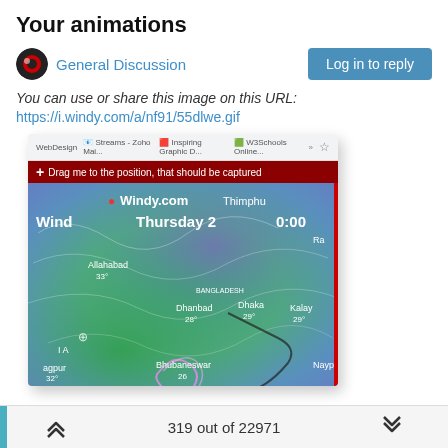Your animations
General Discussion
You can use or share this image on this URL:
https://i.windy.com/a/nf91/55dlwe.gif
[Figure (screenshot): Browser screenshot showing the Windy.com wind map with weather overlay. The map displays wind patterns over India and Bangladesh region. Labels visible: Wind, Thursday 2, 0:00, Allahabad 33°, Dhanbad 28°, Dhaka 29°, Kalay 29°, Nagpur 32°, Bhubaneswar 26°, Nayp. A drag banner reads: Drag me to the position, that should be captured. Browser tabs show WebDesign, Streams - Zoho Mai..., Inspiring Graphic D..., W3Schools Online...]
319 out of 22971